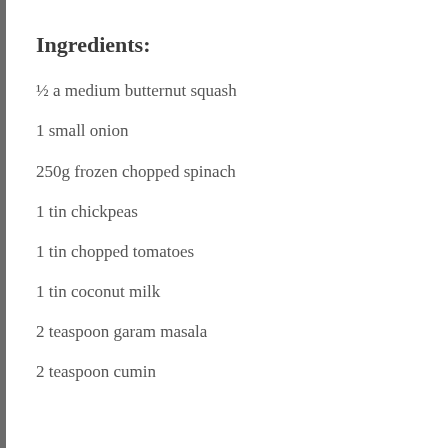Ingredients:
½ a medium butternut squash
1 small onion
250g frozen chopped spinach
1 tin chickpeas
1 tin chopped tomatoes
1 tin coconut milk
2 teaspoon garam masala
2 teaspoon cumin